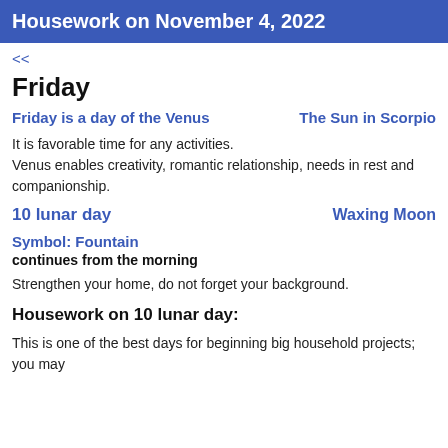Housework on November 4, 2022
<<
Friday
Friday is a day of the Venus
The Sun in Scorpio
It is favorable time for any activities.
Venus enables creativity, romantic relationship, needs in rest and companionship.
10 lunar day
Waxing Moon
Symbol: Fountain
continues from the morning
Strengthen your home, do not forget your background.
Housework on 10 lunar day:
This is one of the best days for beginning big household projects; you may